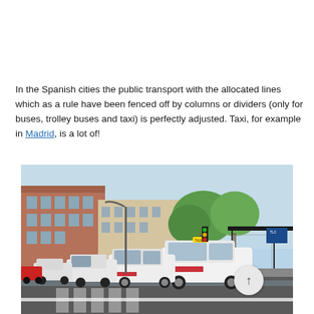In the Spanish cities the public transport with the allocated lines which as a rule have been fenced off by columns or dividers (only for buses, trolley buses and taxi) is perfectly adjusted. Taxi, for example in Madrid, is a lot of!
[Figure (photo): A row of white taxis parked along a wet street in Madrid, Spain. Buildings line the left side of the street, and a bus stop shelter is visible on the right. Green trees are visible in the background under a bright sky.]